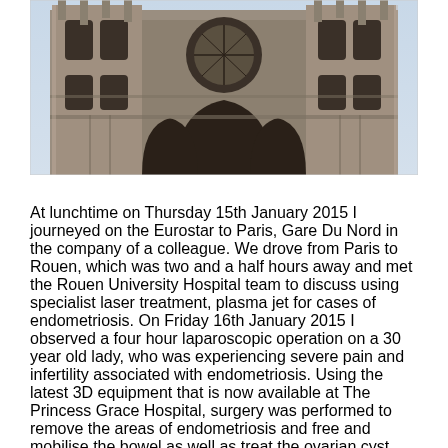[Figure (photo): Photograph of a Gothic cathedral facade (likely Rouen Cathedral), showing ornate stone carvings, arched portals, and decorative tracery windows shot from below against a bright sky.]
At lunchtime on Thursday 15th January 2015 I journeyed on the Eurostar to Paris, Gare Du Nord in the company of a colleague. We drove from Paris to Rouen, which was two and a half hours away and met the Rouen University Hospital team to discuss using specialist laser treatment, plasma jet for cases of endometriosis. On Friday 16th January 2015 I observed a four hour laparoscopic operation on a 30 year old lady, who was experiencing severe pain and infertility associated with endometriosis. Using the latest 3D equipment that is now available at The Princess Grace Hospital, surgery was performed to remove the areas of endometriosis and free and mobilise the bowel as well as treat the ovarian cyst and open the fallopian tubes. This was indeed a very successful operative procedure using the plasma jet Argon laser. We had a team